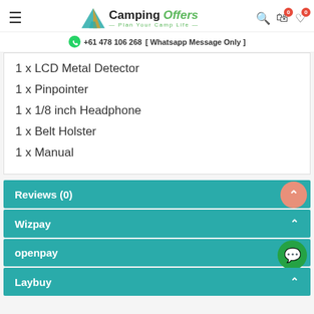Camping Offers — Plan Your Camp Life | +61 478 106 268 [ Whatsapp Message Only ]
1 x LCD Metal Detector
1 x Pinpointer
1 x 1/8 inch Headphone
1 x Belt Holster
1 x Manual
Reviews (0)
Wizpay
openpay
Laybuy